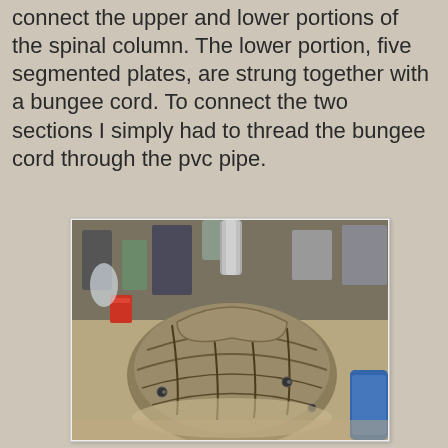because it was the easiest way for me to connect the upper and lower portions of the spinal column. The lower portion, five segmented plates, are strung together with a bungee cord. To connect the two sections I simply had to thread the bungee cord through the pvc pipe.
[Figure (photo): A workshop photo showing a large curved segmented prop or costume piece resembling a spinal column or armored shell, made from textured material with visible bolts/hardware, sitting on a workbench surrounded by craft supplies and containers.]